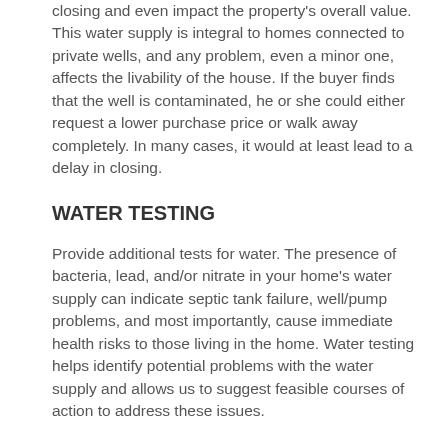closing and even impact the property's overall value. This water supply is integral to homes connected to private wells, and any problem, even a minor one, affects the livability of the house. If the buyer finds that the well is contaminated, he or she could either request a lower purchase price or walk away completely. In many cases, it would at least lead to a delay in closing.
WATER TESTING
Provide additional tests for water. The presence of bacteria, lead, and/or nitrate in your home’s water supply can indicate septic tank failure, well/pump problems, and most importantly, cause immediate health risks to those living in the home. Water testing helps identify potential problems with the water supply and allows us to suggest feasible courses of action to address these issues.
Well Inspections
well inspections involve evaluating the functionality of